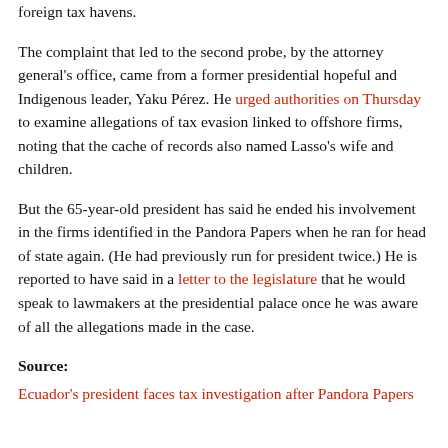foreign tax havens.
The complaint that led to the second probe, by the attorney general's office, came from a former presidential hopeful and Indigenous leader, Yaku Pérez. He urged authorities on Thursday to examine allegations of tax evasion linked to offshore firms, noting that the cache of records also named Lasso's wife and children.
But the 65-year-old president has said he ended his involvement in the firms identified in the Pandora Papers when he ran for head of state again. (He had previously run for president twice.) He is reported to have said in a letter to the legislature that he would speak to lawmakers at the presidential palace once he was aware of all the allegations made in the case.
Source:
Ecuador's president faces tax investigation after Pandora Papers